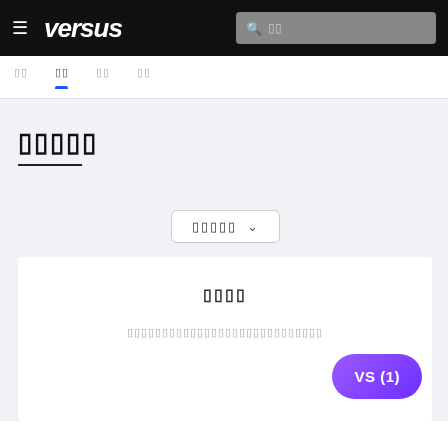≡  versus  🔍 □□
□□  □□  □□  □□
□□□□□
□□□□□ ∨
□□□□
□□□□□□□□□□□□□□□□□□□□□□□□□□□□
VS (1)